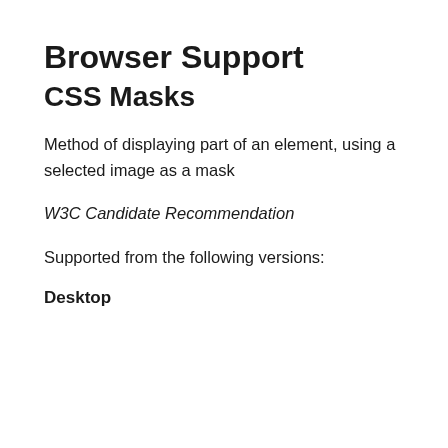Browser Support
CSS Masks
Method of displaying part of an element, using a selected image as a mask
W3C Candidate Recommendation
Supported from the following versions:
Desktop